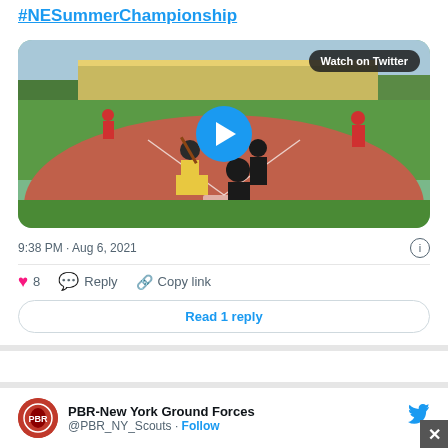#NESummerChampionship
[Figure (photo): Baseball game video thumbnail showing a batter at home plate with catcher and umpire, red clay infield, green outfield, sunny day. Blue play button in center. 'Watch on Twitter' badge top right.]
9:38 PM · Aug 6, 2021
♥ 8   Reply   Copy link
Read 1 reply
PBR-New York Ground Forces
@PBR_NY_Scouts · Follow